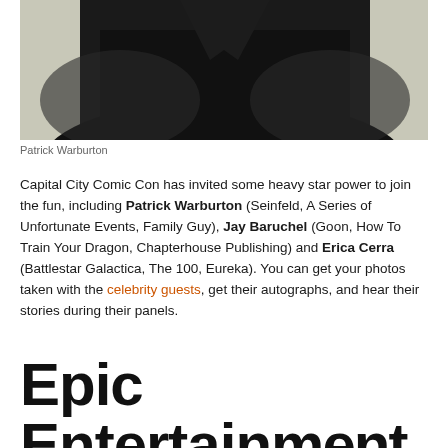[Figure (photo): Black and white photo of Patrick Warburton, a man dressed in dark clothing against a light background, cropped to show upper body]
Patrick Warburton
Capital City Comic Con has invited some heavy star power to join the fun, including Patrick Warburton (Seinfeld, A Series of Unfortunate Events, Family Guy), Jay Baruchel (Goon, How To Train Your Dragon, Chapterhouse Publishing) and Erica Cerra (Battlestar Galactica, The 100, Eureka). You can get your photos taken with the celebrity guests, get their autographs, and hear their stories during their panels.
Epic Entertainment